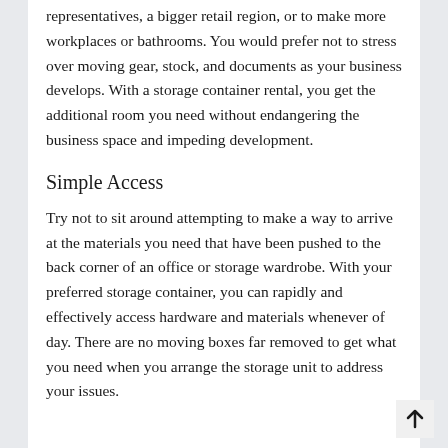representatives, a bigger retail region, or to make more workplaces or bathrooms. You would prefer not to stress over moving gear, stock, and documents as your business develops. With a storage container rental, you get the additional room you need without endangering the business space and impeding development.
Simple Access
Try not to sit around attempting to make a way to arrive at the materials you need that have been pushed to the back corner of an office or storage wardrobe. With your preferred storage container, you can rapidly and effectively access hardware and materials whenever of day. There are no moving boxes far removed to get what you need when you arrange the storage unit to address your issues.